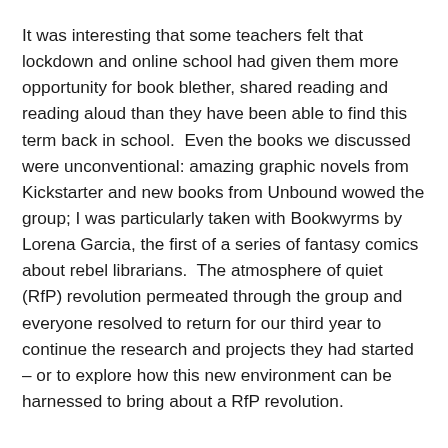It was interesting that some teachers felt that lockdown and online school had given them more opportunity for book blether, shared reading and reading aloud than they have been able to find this term back in school.  Even the books we discussed were unconventional: amazing graphic novels from Kickstarter and new books from Unbound wowed the group; I was particularly taken with Bookwyrms by Lorena Garcia, the first of a series of fantasy comics about rebel librarians.  The atmosphere of quiet (RfP) revolution permeated through the group and everyone resolved to return for our third year to continue the research and projects they had started – or to explore how this new environment can be harnessed to bring about a RfP revolution.